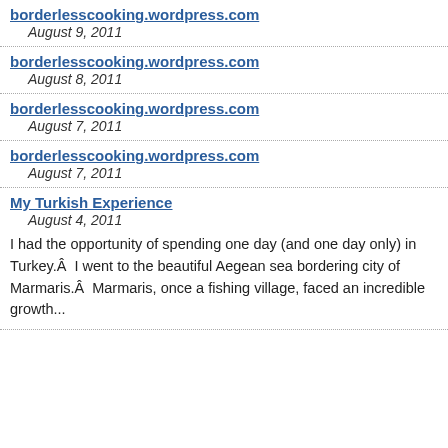borderlesscooking.wordpress.com
August 9, 2011
borderlesscooking.wordpress.com
August 8, 2011
borderlesscooking.wordpress.com
August 7, 2011
borderlesscooking.wordpress.com
August 7, 2011
My Turkish Experience
August 4, 2011
I had the opportunity of spending one day (and one day only) in Turkey.Â  I went to the beautiful Aegean sea bordering city of Marmaris.Â  Marmaris, once a fishing village, faced an incredible growth...